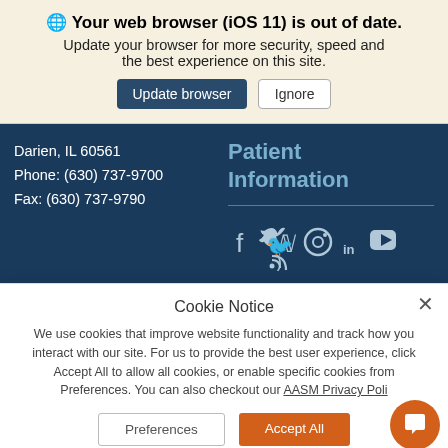Your web browser (iOS 11) is out of date. Update your browser for more security, speed and the best experience on this site.
Update browser | Ignore
Darien, IL 60561
Phone: (630) 737-9700
Fax: (630) 737-9790
Patient Information
[Figure (other): Social media icons: Facebook, Twitter, Instagram, LinkedIn, YouTube, RSS]
Cookie Notice
We use cookies that improve website functionality and track how you interact with our site. For us to provide the best user experience, click Accept All to allow all cookies, or enable specific cookies from Preferences. You can also checkout our AASM Privacy Poli
Preferences | Accept All